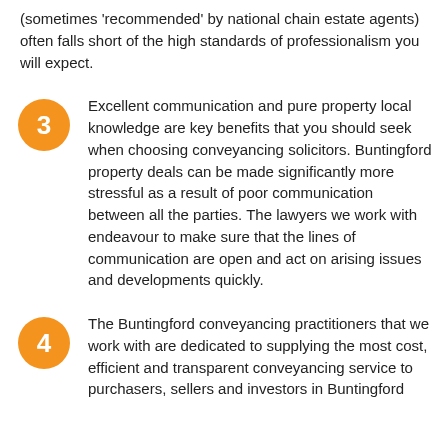(sometimes 'recommended' by national chain estate agents) often falls short of the high standards of professionalism you will expect.
Excellent communication and pure property local knowledge are key benefits that you should seek when choosing conveyancing solicitors. Buntingford property deals can be made significantly more stressful as a result of poor communication between all the parties. The lawyers we work with endeavour to make sure that the lines of communication are open and act on arising issues and developments quickly.
The Buntingford conveyancing practitioners that we work with are dedicated to supplying the most cost, efficient and transparent conveyancing service to purchasers, sellers and investors in Buntingford